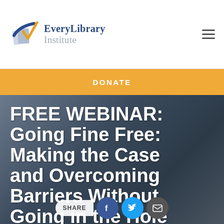EveryLibrary Institute
DONATE
[Figure (photo): Hero image with dark blue-gray background showing a blurred scene, overlaid with large white bold text reading: FREE WEBINAR: Going Fine Free: Making the Case and Overcoming Barriers Without Going in the Hole]
FREE WEBINAR: Going Fine Free: Making the Case and Overcoming Barriers Without Going in the Hole